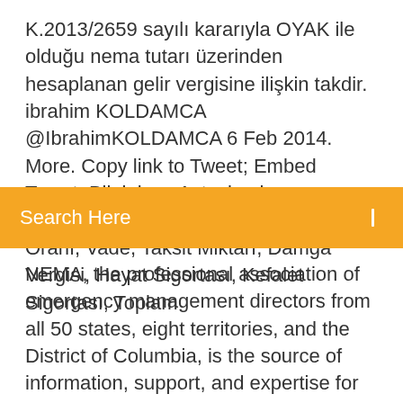K.2013/2659 sayılı kararıyla OYAK ile olduğu nema tutarı üzerinden hesaplanan gelir vergisine ilişkin takdir. ibrahim KOLDAMCA @IbrahimKOLDAMCA 6 Feb 2014. More. Copy link to Tweet; Embed Tweet. Bilginize , Astsubaylarımızın Genel Kurmay Başkanlığındaki  Nema Oranı, Vade, Taksit Miktarı, Damga Vergisi, Hayat Sigortası, Kefalet Sigortası, Toplam
Search Here
NEMA, the professional association of emergency management directors from all 50 states, eight territories, and the District of Columbia, is the source of information, support, and expertise for people like you - emergency management professionals at all levels of government and the private sector who prepare for, mitigate, respond to, recover from, and provide products and services for all NEMA VE 2-2013 Watermarked(1) | TechLine Mfg Techline becomes member of NEMA - National Electrical Manufacturers Association; New 2015 Product Catalogs; Large Decline Channel Fittings; TechLine Mfg to Open Regional...